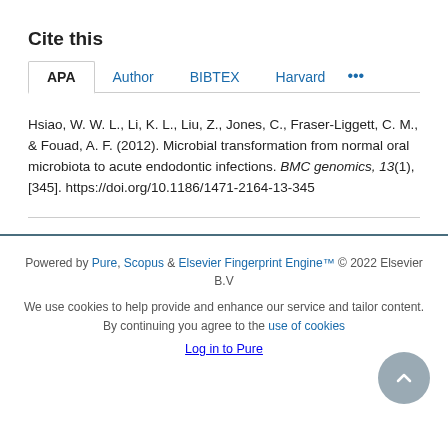Cite this
APA | Author | BIBTEX | Harvard | ...
Hsiao, W. W. L., Li, K. L., Liu, Z., Jones, C., Fraser-Liggett, C. M., & Fouad, A. F. (2012). Microbial transformation from normal oral microbiota to acute endodontic infections. BMC genomics, 13(1), [345]. https://doi.org/10.1186/1471-2164-13-345
Powered by Pure, Scopus & Elsevier Fingerprint Engine™ © 2022 Elsevier B.V
We use cookies to help provide and enhance our service and tailor content. By continuing you agree to the use of cookies
Log in to Pure